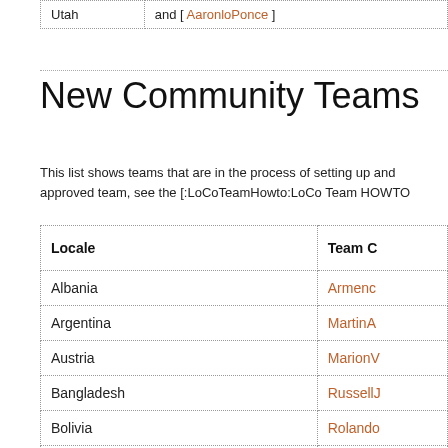| Utah | and [ AaronloPonce ] |
New Community Teams
This list shows teams that are in the process of setting up and approved team, see the [:LoCoTeamHowto:LoCo Team HOWTO
| Locale | Team C |
| --- | --- |
| Albania | Armenc |
| Argentina | MartinA |
| Austria | MarionV |
| Bangladesh | RussellJ |
| Bolivia | Rolando |
| Bosnia | EmirBe |
| Brazil | IanLaw |
| Canada | CoreyB |
| Canada/Quebec | FabianF |